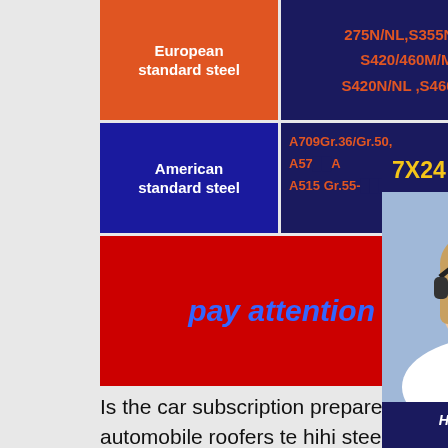| Category | Standards |
| --- | --- |
| European standard steel | 275N/NL,S355N/NL, S420/460M/ML, S420N/NL ,S460NNL |
| American standard steel | A709Gr.36/Gr.50, A57..., A..., A515 Gr.55-..., 36... |
[Figure (infographic): Red box with text 'pay attention to' in blue italic bold font, overlaid with customer service agent popup showing '7X24 Online', a photo of a woman with headset, 'Hello,may I help you?' text, and 'Get Latest Price' yellow button]
Is the car subscription prepared b... automobile roofers te hihi steel plate price
The domestic model is also equipped with an in-line 6-cylinder, 4,000 cc 2H diesel engine (GX high roof only). GX grade is